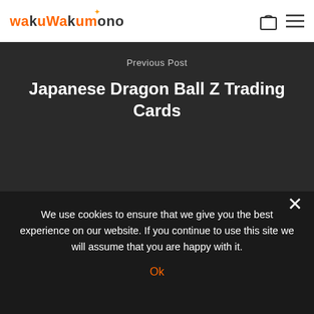[Figure (logo): WakuWakuMono logo with orange and dark text and a small orange dot/star above]
Previous Post
Japanese Dragon Ball Z Trading Cards
[Figure (photo): Photo of bookshelves with books, with large white text overlay: ORDERING BOOKS]
Next Post
We use cookies to ensure that we give you the best experience on our website. If you continue to use this site we will assume that you are happy with it.
Ok